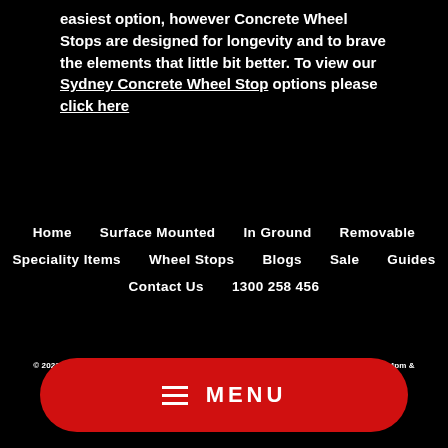easiest option, however Concrete Wheel Stops are designed for longevity and to brave the elements that little bit better. To view our Sydney Concrete Wheel Stop options please click here
Home   Surface Mounted   In Ground   Removable   Speciality Items   Wheel Stops   Blogs   Sale   Guides   Contact Us   1300 258 456
© 2022 TKO Bollards - ALL RIGHTS RESERVED - Open Monday to Thursday from 7:30am to 4pm & Friday from 7:30am to 1.30pm      Powered by Shopify
[Figure (other): Red rounded MENU button with hamburger icon]